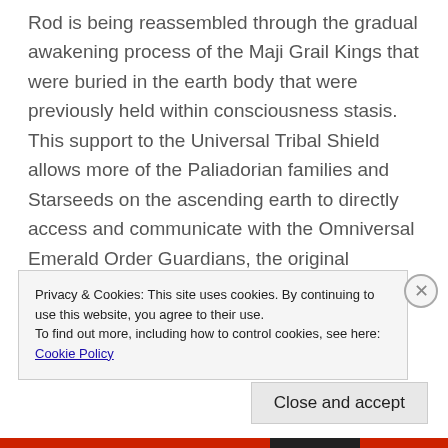Rod is being reassembled through the gradual awakening process of the Maji Grail Kings that were buried in the earth body that were previously held within consciousness stasis. This support to the Universal Tribal Shield allows more of the Paliadorian families and Starseeds on the ascending earth to directly access and communicate with the Omniversal Emerald Order Guardians, the original founders and architects of the Interdimensional Free World Councils. Many of us on the earth
Privacy & Cookies: This site uses cookies. By continuing to use this website, you agree to their use.
To find out more, including how to control cookies, see here: Cookie Policy
Close and accept